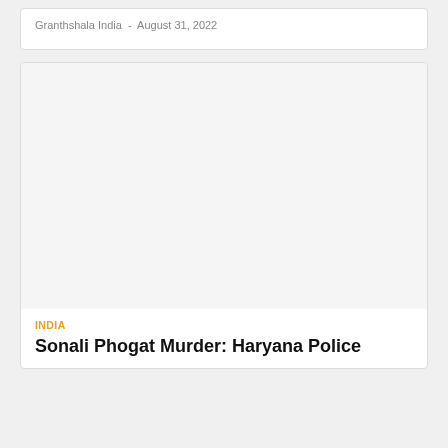Granthshala India  -  August 31, 2022
[Figure (photo): Large image placeholder (white/light grey area) for an article photo]
INDIA
Sonali Phogat Murder: Haryana Police